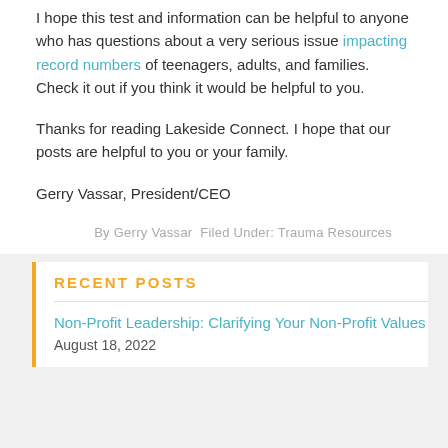I hope this test and information can be helpful to anyone who has questions about a very serious issue impacting record numbers of teenagers, adults, and families. Check it out if you think it would be helpful to you.
Thanks for reading Lakeside Connect. I hope that our posts are helpful to you or your family.
Gerry Vassar, President/CEO
By Gerry Vassar Filed Under: Trauma Resources
RECENT POSTS
Non-Profit Leadership: Clarifying Your Non-Profit Values
August 18, 2022